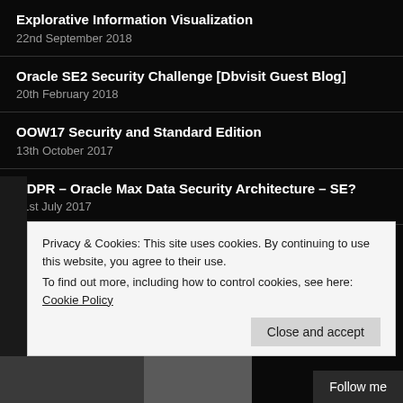Explorative Information Visualization
22nd September 2018
Oracle SE2 Security Challenge [Dbvisit Guest Blog]
20th February 2018
OOW17 Security and Standard Edition
13th October 2017
GDPR – Oracle Max Data Security Architecture – SE?
31st July 2017
Big Data Foundation Certificate
31st March 2017
Privacy & Cookies: This site uses cookies. By continuing to use this website, you agree to their use.
To find out more, including how to control cookies, see here: Cookie Policy
Close and accept
Follow me